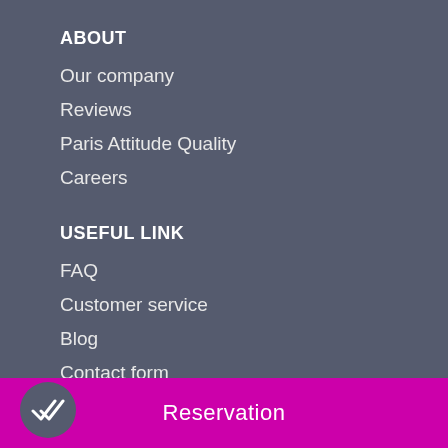ABOUT
Our company
Reviews
Paris Attitude Quality
Careers
USEFUL LINK
FAQ
Customer service
Blog
Contact form
Press
OTHERS
Relocation services
Additional services
Reservation